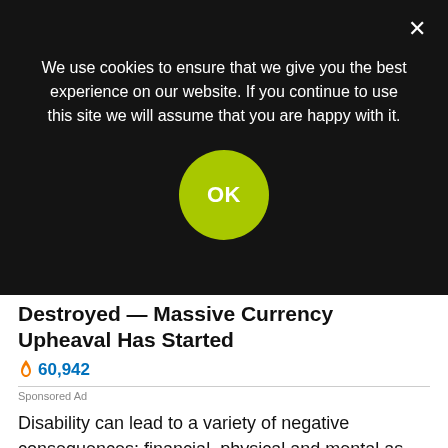We use cookies to ensure that we give you the best experience on our website. If you continue to use this site we will assume that you are happy with it.
OK
Destroyed — Massive Currency Upheaval Has Started
60,942
Sponsored Ad
Disability can lead to a variety of negative consequences: financial, physical and mental as well as leading to higher mortality rates and unequal access to healthcare. In terms of financial consequences, 44% disabled people are likely to be employed compared to 75% in